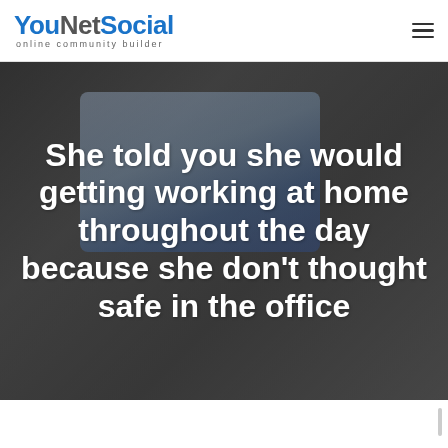[Figure (logo): YouNetSocial logo with tagline 'online community builder' in the top-left header]
[Figure (photo): Background photo of a laptop on a desk with headphones and smartphone, overlaid with large white headline text]
She told you she would getting working at home throughout the day because she don't thought safe in the office